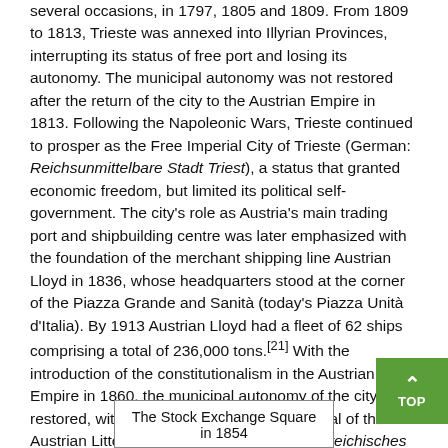several occasions, in 1797, 1805 and 1809. From 1809 to 1813, Trieste was annexed into Illyrian Provinces, interrupting its status of free port and losing its autonomy. The municipal autonomy was not restored after the return of the city to the Austrian Empire in 1813. Following the Napoleonic Wars, Trieste continued to prosper as the Free Imperial City of Trieste (German: Reichsunmittelbare Stadt Triest), a status that granted economic freedom, but limited its political self-government. The city's role as Austria's main trading port and shipbuilding centre was later emphasized with the foundation of the merchant shipping line Austrian Lloyd in 1836, whose headquarters stood at the corner of the Piazza Grande and Sanità (today's Piazza Unità d'Italia). By 1913 Austrian Lloyd had a fleet of 62 ships comprising a total of 236,000 tons.[21] With the introduction of the constitutionalism in the Austrian Empire in 1860, the municipal autonomy of the city was restored, with Trieste becoming capital of the Austrian Littoral crown land (German: Österreichisches Küstenland).
The Stock Exchange Square in 1854